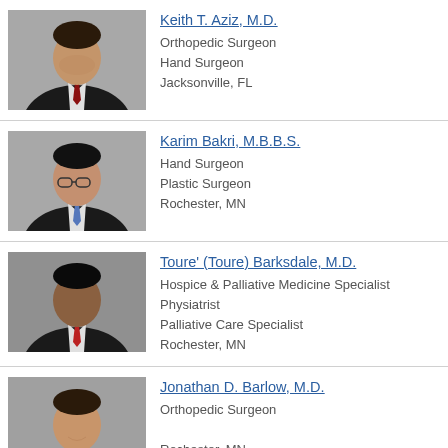[Figure (photo): Professional headshot of Keith T. Aziz, M.D. in suit and tie]
Keith T. Aziz, M.D.
Orthopedic Surgeon
Hand Surgeon
Jacksonville, FL
[Figure (photo): Professional headshot of Karim Bakri, M.B.B.S. wearing glasses]
Karim Bakri, M.B.B.S.
Hand Surgeon
Plastic Surgeon
Rochester, MN
[Figure (photo): Professional headshot of Toure' Barksdale, M.D. in suit with red tie]
Toure' (Toure) Barksdale, M.D.
Hospice & Palliative Medicine Specialist
Physiatrist
Palliative Care Specialist
Rochester, MN
[Figure (photo): Professional headshot of Jonathan D. Barlow, M.D.]
Jonathan D. Barlow, M.D.
Orthopedic Surgeon
Rochester, MN